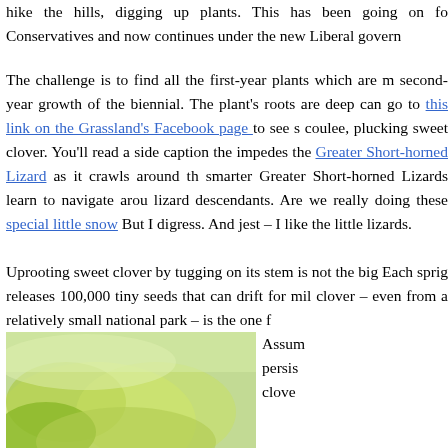hike the hills, digging up plants. This has been going on for Conservatives and now continues under the new Liberal govern
The challenge is to find all the first-year plants which are r second-year growth of the biennial. The plant's roots are deep can go to this link on the Grassland's Facebook page to see s coulee, plucking sweet clover. You'll read a side caption the impedes the Greater Short-horned Lizard as it crawls around th smarter Greater Short-horned Lizards learn to navigate arou lizard descendants. Are we really doing these special little snow But I digress. And jest – I like the little lizards.
Uprooting sweet clover by tugging on its stem is not the big Each sprig releases 100,000 tiny seeds that can drift for mil clover – even from a relatively small national park – is the one f
[Figure (photo): Photo of plants with yellow-green and light green coloring]
Assum persis clove